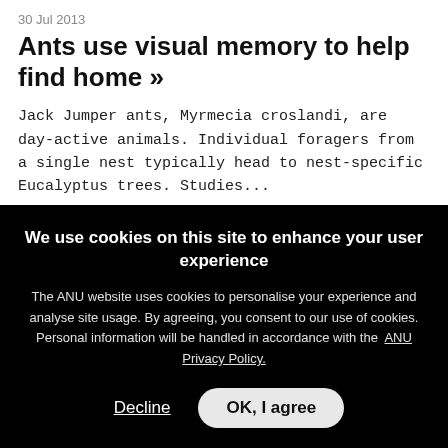[Figure (illustration): Orange decorative squiggle/flourish at top center of page]
30 Jul 2013
Ants use visual memory to help find home »
Jack Jumper ants, Myrmecia croslandi, are day-active animals. Individual foragers from a single nest typically head to nest-specific Eucalyptus trees. Studies...
We use cookies on this site to enhance your user experience
The ANU website uses cookies to personalise your experience and analyse site usage. By agreeing, you consent to our use of cookies. Personal information will be handled in accordance with the ANU Privacy Policy.
Decline    OK, I agree